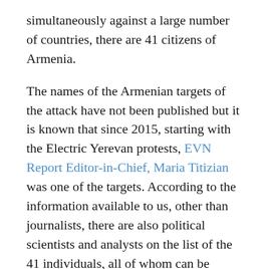simultaneously against a large number of countries, there are 41 citizens of Armenia.
The names of the Armenian targets of the attack have not been published but it is known that since 2015, starting with the Electric Yerevan protests, EVN Report Editor-in-Chief, Maria Titizian was one of the targets. According to the information available to us, other than journalists, there are also political scientists and analysts on the list of the 41 individuals, all of whom can be described as Western leaning.
These are the instances of state cyber espionage that we are aware of. Considering how advanced state hacking has become in recent years, it is possible that some of the cyber attacks on Armenia, possibly a considerable amount, have